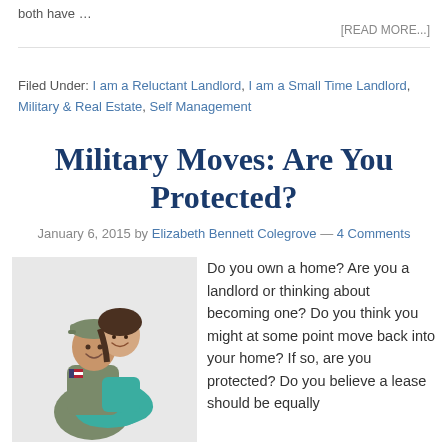both have …
[READ MORE...]
Filed Under: I am a Reluctant Landlord, I am a Small Time Landlord, Military & Real Estate, Self Management
Military Moves: Are You Protected?
January 6, 2015 by Elizabeth Bennett Colegrove — 4 Comments
[Figure (photo): A military couple — a man in army camouflage uniform with a US flag patch, smiling, with a woman in a teal shirt hugging him from behind, also smiling.]
Do you own a home? Are you a landlord or thinking about becoming one? Do you think you might at some point move back into your home? If so, are you protected? Do you believe a lease should be equally